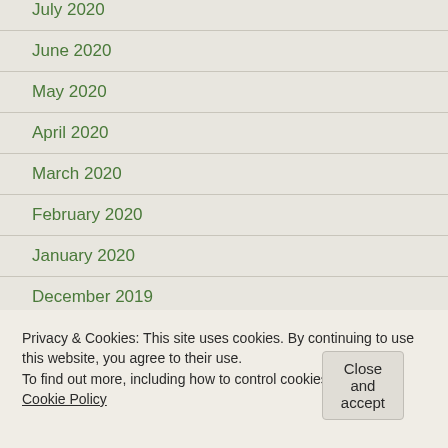July 2020
June 2020
May 2020
April 2020
March 2020
February 2020
January 2020
December 2019
August 2019
July 2019
Privacy & Cookies: This site uses cookies. By continuing to use this website, you agree to their use.
To find out more, including how to control cookies, see here: Cookie Policy
Close and accept